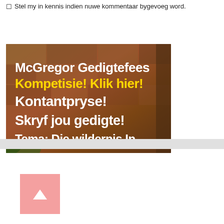Stel my in kennis indien nuwe kommentaar bygevoeg word.
[Figure (illustration): Advertisement banner for McGregor Gedigtefees (Poetry Festival). Brown rustic stone wall background with text overlay. White bold text: 'McGregor Gedigtefees', 'Kontantpryse!', 'Skryf jou gedigte!', 'Tema: Die wildernis In'. Yellow bold text: 'Kompetisie! Klik hier!']
[Figure (other): Pink square back-to-top button with white upward arrow]